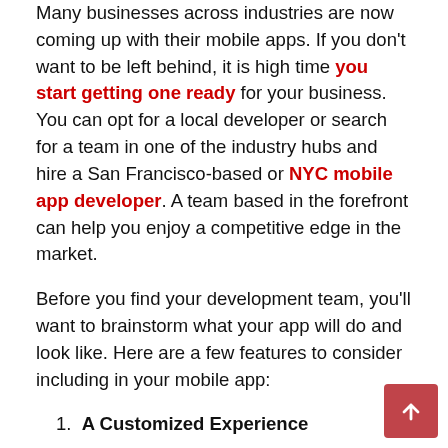Many businesses across industries are now coming up with their mobile apps. If you don't want to be left behind, it is high time you start getting one ready for your business. You can opt for a local developer or search for a team in one of the industry hubs and hire a San Francisco-based or NYC mobile app developer. A team based in the forefront can help you enjoy a competitive edge in the market.
Before you find your development team, you'll want to brainstorm what your app will do and look like. Here are a few features to consider including in your mobile app:
1. A Customized Experience
The first thing a mobile app should do is greet